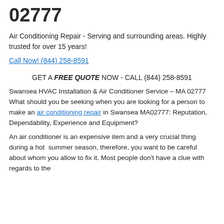02777
Air Conditioning Repair - Serving and surrounding areas. Highly trusted for over 15 years!
Call Now! (844) 258-8591
GET A FREE QUOTE NOW - CALL (844) 258-8591
Swansea HVAC Installation & Air Conditioner Service – MA 02777 What should you be seeking when you are looking for a person to make an air conditioning repair in Swansea MA02777: Reputation, Dependability, Experience and Equipment?
An air conditioner is an expensive item and a very crucial thing during a hot summer season, therefore, you want to be careful about whom you allow to fix it. Most people don't have a clue with regards to the